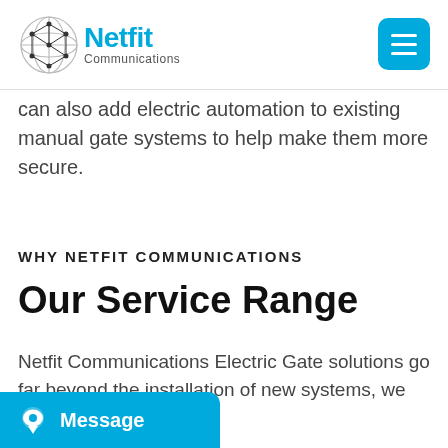Netfit Communications
can also add electric automation to existing manual gate systems to help make them more secure.
WHY NETFIT COMMUNICATIONS
Our Service Range
Netfit Communications Electric Gate solutions go far beyond the installation of new systems, we can provide ns;